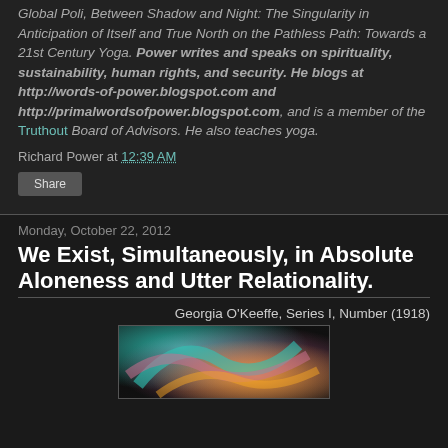Global Poli, Between Shadow and Night: The Singularity in Anticipation of Itself and True North on the Pathless Path: Towards a 21st Century Yoga. Power writes and speaks on spirituality, sustainability, human rights, and security. He blogs at http://words-of-power.blogspot.com and http://primalwordsofpower.blogspot.com, and is a member of the Truthout Board of Advisors. He also teaches yoga.
Richard Power at 12:39 AM
Share
Monday, October 22, 2012
We Exist, Simultaneously, in Absolute Aloneness and Utter Relationality.
Georgia O'Keeffe, Series I, Number (1918)
[Figure (photo): Painting by Georgia O'Keeffe showing abstract swirling forms in teal, pink, orange and dark colors]